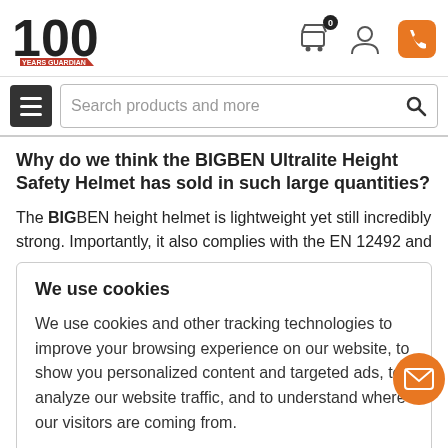[Figure (screenshot): Website header with '100 years' logo, shopping cart icon with badge '0', user account icon, and orange phone button]
[Figure (screenshot): Navigation bar with hamburger menu and search bar reading 'Search products and more']
Why do we think the BIGBEN Ultralite Height Safety Helmet has sold in such large quantities?
The BIGBEN height helmet is lightweight yet still incredibly strong. Importantly, it also complies with the EN 12492 and
We use cookies
We use cookies and other tracking technologies to improve your browsing experience on our website, to show you personalized content and targeted ads, to analyze our website traffic, and to understand where our visitors are coming from.
I AGREE